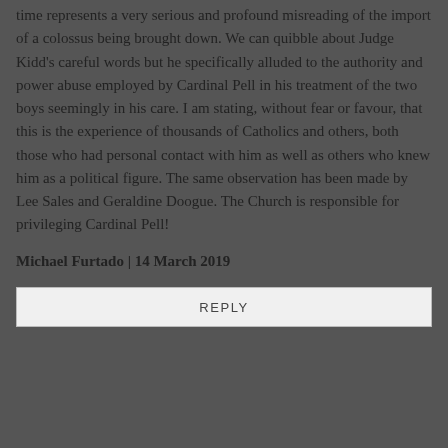time represents a very serious and profound misreading of the import of a colossus being brought down. We can quibble about Judge Kidd's careful words but he specifically alluded to the authority and power abuse employed by Cardinal Pell in his treatment of the two boys seemingly in his care. I am stating, without fear or favour, that this is the experience of thousands of Catholics and others, both those who had personal contact with him as well as others who knew him as a political figure. The same observation has been made by Lee Sales and Geraldine Doogue. The Church is responsible for privileging Cardinal Pell!
Michael Furtado | 14 March 2019
REPLY